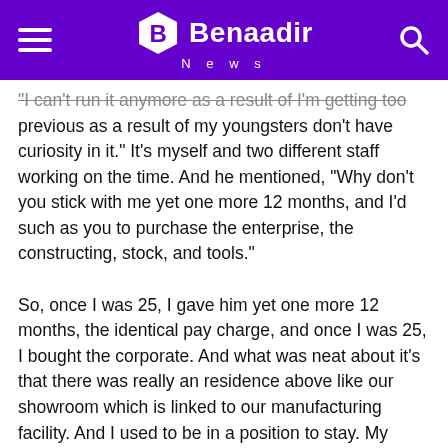Benaadir News
"I can't run it anymore as a result of I'm getting too previous as a result of my youngsters don't have curiosity in it." It's myself and two different staff working on the time. And he mentioned, "Why don't you stick with me yet one more 12 months, and I'd such as you to purchase the enterprise, the constructing, stock, and tools."
So, once I was 25, I gave him yet one more 12 months, the identical pay charge, and once I was 25, I bought the corporate. And what was neat about it's that there was really an residence above like our showroom which is linked to our manufacturing facility. And I used to be in a position to stay. My spouse and I have been in a position to stay upstairs and run the showroom and the manufacturing facility. It's form of an old school like shopkeeper, and it's simply form of a neat little area of interest. So, that's how I grew to become a mattress maker.
Host: That's an incredible story and I love...